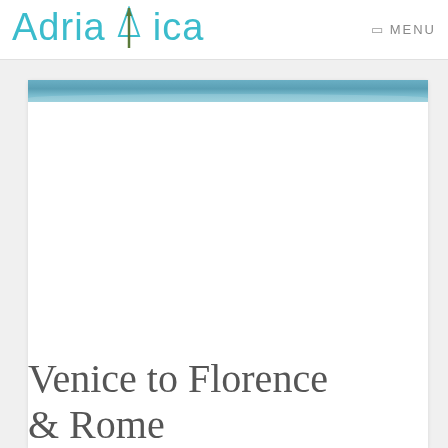Adrialica  MENU
[Figure (photo): A scenic coastal/water image shown as a teal-blue banner strip at the top of a content card]
Venice to Florence & Rome